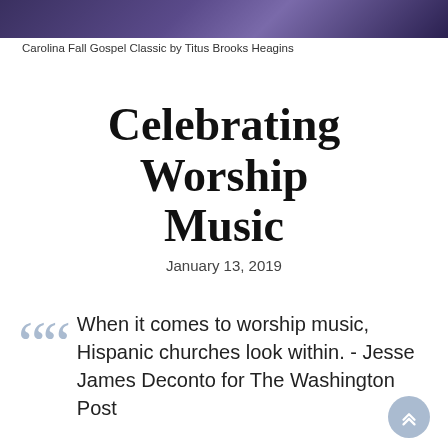[Figure (photo): Dark purple/blue gradient photo strip at the top of the page (Carolina Fall Gospel Classic)]
Carolina Fall Gospel Classic by Titus Brooks Heagins
Celebrating Worship Music
January 13, 2019
When it comes to worship music, Hispanic churches look within. - Jesse James Deconto for The Washington Post